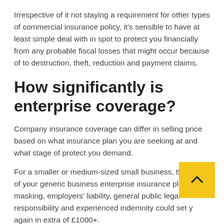Irrespective of it not staying a requirement for other types of commercial insurance policy, it's sensible to have at least simple deal with in spot to protect you financially from any probable fiscal losses that might occur because of to destruction, theft, reduction and payment claims.
How significantly is enterprise coverage?
Company insurance coverage can differ in selling price based on what insurance plan you are seeking at and what stage of protect you demand.
For a smaller or medium-sized small business, the price of your generic business enterprise insurance plan masking, employers' liability, general public legal responsibility and experienced indemnity could set y again in extra of £1000+.
Even though this may seem to be expensive, it's